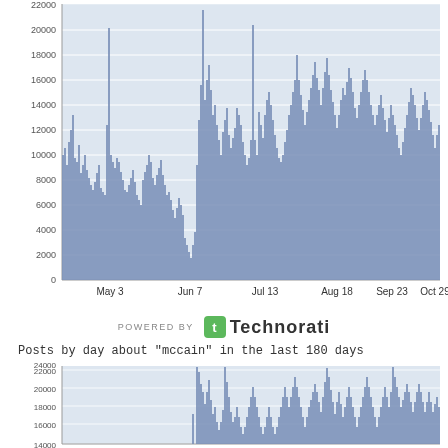[Figure (bar-chart): Bar chart showing daily blog posts about obama from May 3 to Oct 29, y-axis 0 to 22000, with a major spike near Jun 7 (~20500) and Aug 18 (~20000)]
[Figure (logo): POWERED BY Technorati logo]
Posts by day about "mccain" in the last 180 days
[Figure (bar-chart): Bar chart showing daily blog posts about mccain, y-axis 14000 to 24000 visible, with spikes around 21500 and 21000]